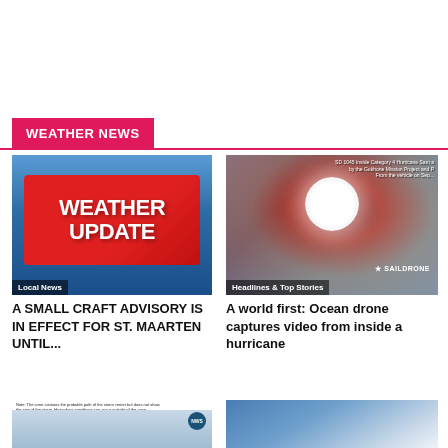WEATHER NEWS
[Figure (photo): Weather Update graphic with red box on blue background, labeled 'Local News']
[Figure (photo): Satellite image of hurricane eye from ocean drone, labeled 'Headlines & Top Stories']
A SMALL CRAFT ADVISORY IS IN EFFECT FOR ST. MAARTEN UNTIL...
A world first: Ocean drone captures video from inside a hurricane
[Figure (map): NOAA storm track map showing probable path of storm]
[Figure (photo): Cloud/sky photograph]